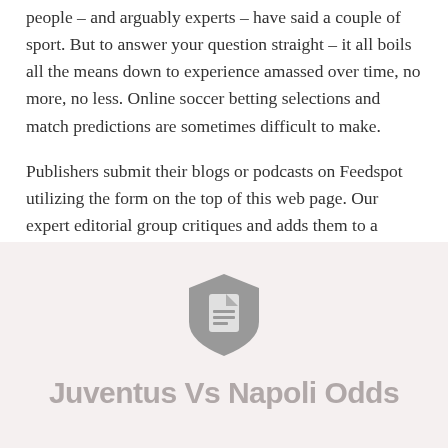people – and arguably experts – have said a couple of sport. But to answer your question straight – it all boils all the means down to experience amassed over time, no more, no less. Online soccer betting selections and match predictions are sometimes difficult to make.
Publishers submit their blogs or podcasts on Feedspot utilizing the form on the top of this web page. Our expert editorial group critiques and adds them to a relevant category list. Ranking is predicated on relevancy,...
[Figure (logo): A document/page icon logo in grey color with rounded shield shape]
Juventus Vs Napoli Odds